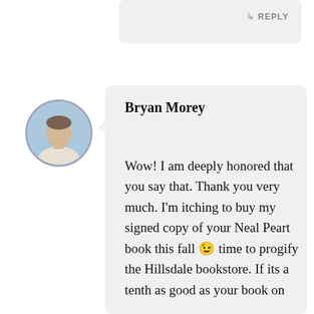[Figure (screenshot): Top portion of a comment thread showing a reply button on the right side of a light gray comment box.]
[Figure (photo): Circular avatar photo of Bryan Morey, a man in a light shirt with an outdoor background.]
Bryan Morey
Wow! I am deeply honored that you say that. Thank you very much. I'm itching to buy my signed copy of your Neal Peart book this fall 😉 time to progify the Hillsdale bookstore. If its a tenth as good as your book on